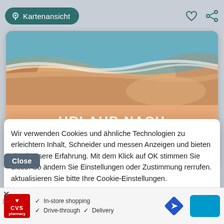[Figure (screenshot): Website screenshot showing a travel site with beach photo, promotional card 'Urlaub Nach Ihren Regeln - Beachsearcher Individual Tours', a cookie consent dialog, and a CVS pharmacy ad banner. Top bar shows 'Kartenansicht' button with map pin icon, heart and share icons.]
Kartenansicht
URLAUB NACH IHREN REGELN
BEACHSEARCHER INDIVIDUAL TOURS
Wir verwenden Cookies und ähnliche Technologien zu erleichtern Inhalt, Schneider und messen Anzeigen und bieten eine bessere Erfahrung. Mit dem Klick auf OK stimmen Sie diese. So ändern Sie Einstellungen oder Zustimmung rerrufen. aktualisieren Sie bitte Ihre Cookie-Einstellungen.
Close
[Figure (other): CVS Pharmacy advertisement banner with CVS pharmacy logo, checkmarks for In-store shopping, Drive-through, and Delivery, a blue diamond direction icon, and a teal CTA button.]
Mehr anzeigen